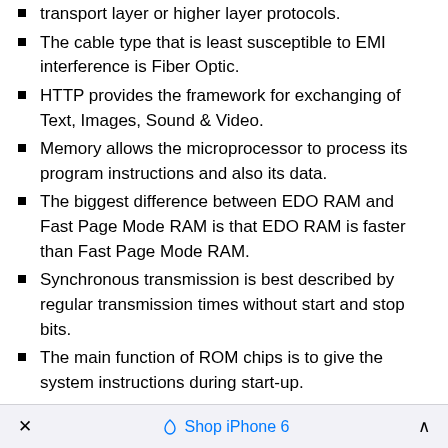transport layer or higher layer protocols.
The cable type that is least susceptible to EMI interference is Fiber Optic.
HTTP provides the framework for exchanging of Text, Images, Sound & Video.
Memory allows the microprocessor to process its program instructions and also its data.
The biggest difference between EDO RAM and Fast Page Mode RAM is that EDO RAM is faster than Fast Page Mode RAM.
Synchronous transmission is best described by regular transmission times without start and stop bits.
The main function of ROM chips is to give the system instructions during start-up.
The working frequency of SMPS lies in the range of 20KHz to 22KHz
For computers not protected by UPS, the main
× Shop iPhone 6 ∧